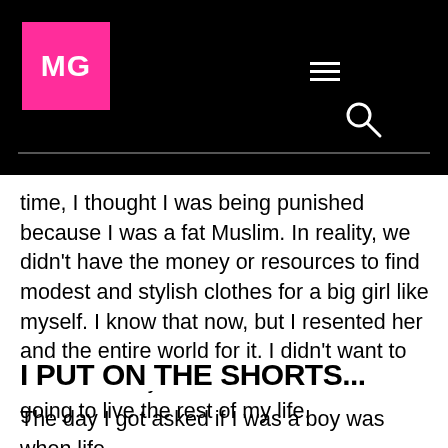[Figure (logo): MG logo in pink square on black header background with hamburger menu and search icon]
time, I thought I was being punished because I was a fat Muslim. In reality, we didn't have the money or resources to find modest and stylish clothes for a big girl like myself. I know that now, but I resented her and the entire world for it. I didn't want to be Muslim anymore if that was how I was going to live the rest of my life.
I PUT ON THE SHORTS...
The day I got asked if I was a boy was when life changed for me...